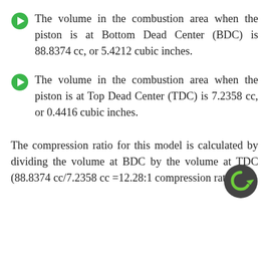The volume in the combustion area when the piston is at Bottom Dead Center (BDC) is 88.8374 cc, or 5.4212 cubic inches.
The volume in the combustion area when the piston is at Top Dead Center (TDC) is 7.2358 cc, or 0.4416 cubic inches.
The compression ratio for this model is calculated by dividing the volume at BDC by the volume at TDC (88.8374 cc/7.2358 cc =12.28:1 compression ratio).